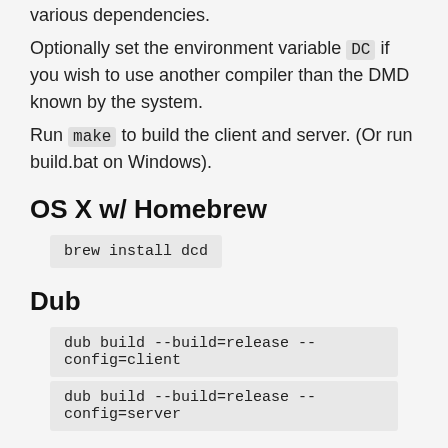various dependencies.
Optionally set the environment variable DC if you wish to use another compiler than the DMD known by the system.
Run make to build the client and server. (Or run build.bat on Windows).
OS X w/ Homebrew
brew install dcd
Dub
dub build --build=release --config=client
dub build --build=release --config=server
Sockets